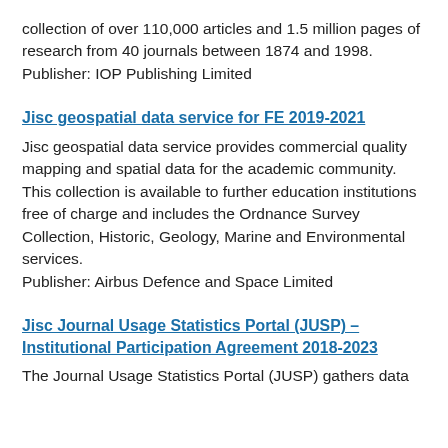collection of over 110,000 articles and 1.5 million pages of research from 40 journals between 1874 and 1998.
Publisher: IOP Publishing Limited
Jisc geospatial data service for FE 2019-2021
Jisc geospatial data service provides commercial quality mapping and spatial data for the academic community. This collection is available to further education institutions free of charge and includes the Ordnance Survey Collection, Historic, Geology, Marine and Environmental services.
Publisher: Airbus Defence and Space Limited
Jisc Journal Usage Statistics Portal (JUSP) – Institutional Participation Agreement 2018-2023
The Journal Usage Statistics Portal (JUSP) gathers data